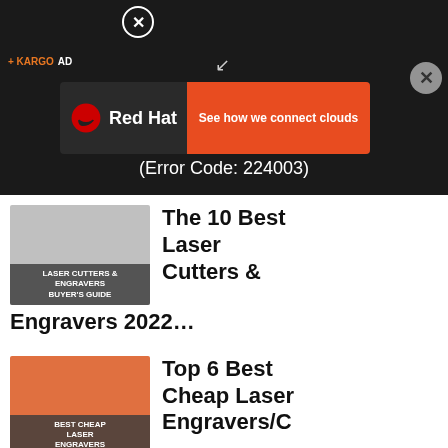[Figure (screenshot): Video player with black background showing error text and Red Hat advertisement banner overlay]
be played.
(Error Code: 224003)
[Figure (photo): Thumbnail image for article about laser cutters and engravers buyer's guide]
The 10 Best Laser Cutters & Engravers 2022…
[Figure (photo): Thumbnail image showing best cheap laser engravers on orange background]
Top 6 Best Cheap Laser Engravers/Cutters That A…
[Figure (photo): Thumbnail image for The 5 Best article (partially visible)]